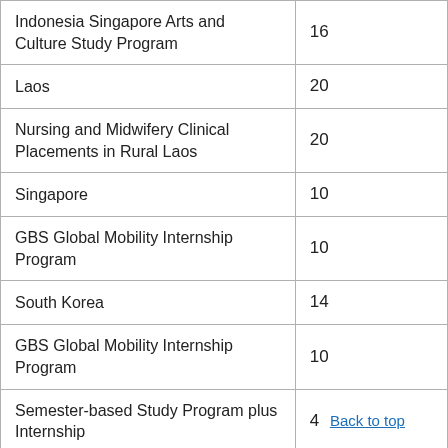| Indonesia Singapore Arts and Culture Study Program | 16 |
| Laos | 20 |
| Nursing and Midwifery Clinical Placements in Rural Laos | 20 |
| Singapore | 10 |
| GBS Global Mobility Internship Program | 10 |
| South Korea | 14 |
| GBS Global Mobility Internship Program | 10 |
| Semester-based Study Program plus Internship | 4 |